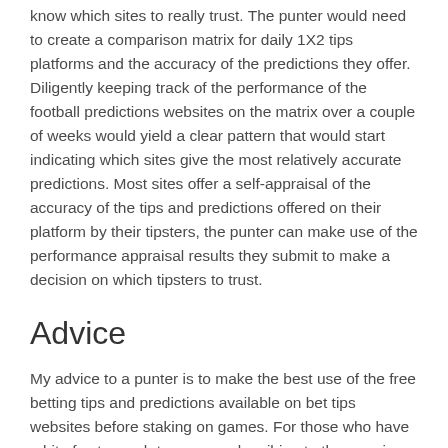know which sites to really trust. The punter would need to create a comparison matrix for daily 1X2 tips platforms and the accuracy of the predictions they offer. Diligently keeping track of the performance of the football predictions websites on the matrix over a couple of weeks would yield a clear pattern that would start indicating which sites give the most relatively accurate predictions. Most sites offer a self-appraisal of the accuracy of the tips and predictions offered on their platform by their tipsters, the punter can make use of the performance appraisal results they submit to make a decision on which tipsters to trust.
Advice
My advice to a punter is to make the best use of the free betting tips and predictions available on bet tips websites before staking on games. For those who have a bit of extra cash to spare, subscribing to the premium services of the football predictions platforms is not really a bad idea too. A punter should also keep track of the success of their bets, most especially the ones made